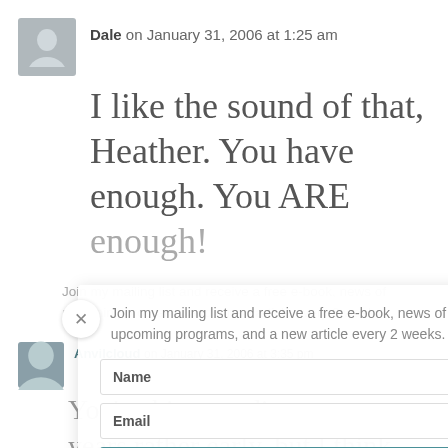Dale on January 31, 2006 at 1:25 am
I like the sound of that, Heather. You have enough. You ARE enough!
Join my mailing list and receive a free e-book, news of upcoming programs, and a new article every 2 weeks.
Anvilcloud on January 31, 2006 at 3:35 pm
You've hit your divestment years rather early, but I think your zero-sum game sounds like an excellent one to play.
Name
Email
Subscribe